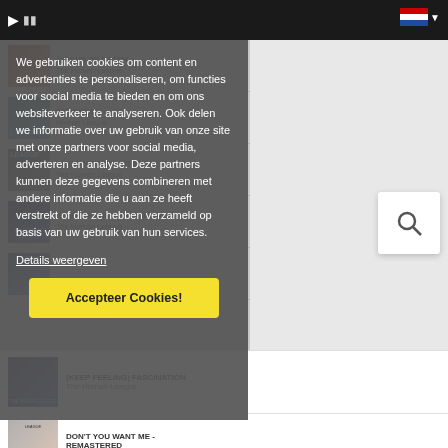[Figure (screenshot): Top navigation bar with play button and Dutch flag]
[Figure (screenshot): Background list of music tracks including Circus of Death, Seconds, Disco Machine Remix by Human League]
We gebruiken cookies om content en advertenties te personaliseren, om functies voor social media te bieden en om ons websiteverkeer te analyseren. Ook delen we informatie over uw gebruik van onze site met onze partners voor social media, adverteren en analyse. Deze partners kunnen deze gegevens combineren met andere informatie die u aan ze heeft verstrekt of die ze hebben verzameld op basis van uw gebruik van hun services.
Details weergeven
Accepteer Cookies!
[Figure (screenshot): (Keep Feeling) Fascination by The Human League album listing]
(KEEP FEELING) FASCINATION
The Human League
DON'T YOU WANT ME - REMASTERED
The Human League